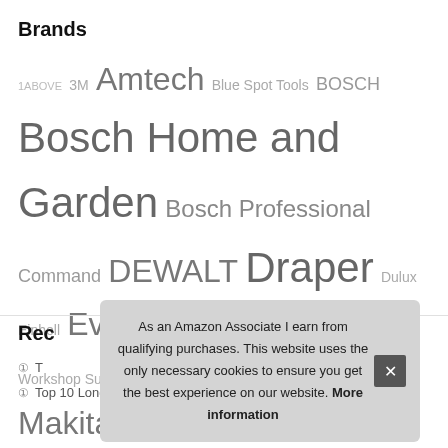Brands
1ABOVE 3M Amtech Blue Spot Tools BOSCH Bosch Home and Garden Bosch Professional Command DEWALT Draper Dulux Einhell Everbuild Faithfull Falcon Workshop Supplies Ltd. Generic HG Johnstone's Kärcher Makita Master Lock Merriway NA OX Tools Ring Rolson RONSEAL Rust-Oleum Ryobi Sealey SIKA Silverline Sourcingmap sourcing map Stanley STORMGUARD TP-Link TREND Unibond Unknown VonHaus White Hinge WORKPRO XFORT Yale
Rec
As an Amazon Associate I earn from qualifying purchases. This website uses the only necessary cookies to ensure you get the best experience on our website. More information